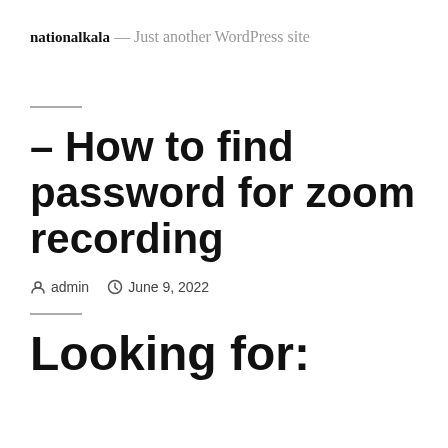nationalkala — Just another WordPress site
– How to find password for zoom recording
admin   June 9, 2022
Looking for: